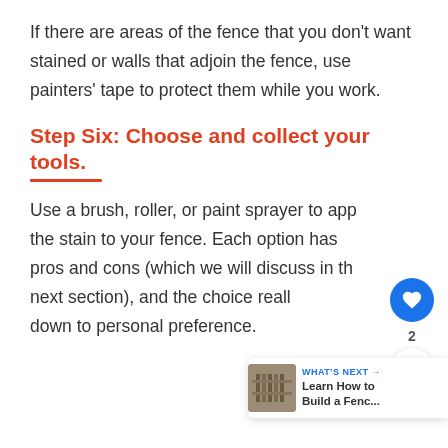If there are areas of the fence that you don't want stained or walls that adjoin the fence, use painters' tape to protect them while you work.
Step Six: Choose and collect your tools.
Use a brush, roller, or paint sprayer to apply the stain to your fence. Each option has pros and cons (which we will discuss in the next section), and the choice really comes down to personal preference.